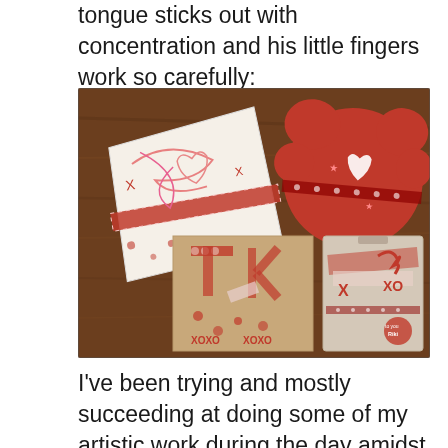tongue sticks out with concentration and his little fingers work so carefully:
[Figure (photo): Four handmade Valentine's Day crafts laid on a wooden table. The crafts are made with red, pink, and white paper, stickers, washi tape, and other decorative elements. Top left shows a white paper craft shaped like a mitten or animal with scribbles and ribbon. Top right shows a red cloud/bear shape decorated with hearts and polka dot ribbon. Bottom left shows letters 'TK' on kraft paper with red polka dot and star patterned tape. Bottom right shows a packaged craft with XOXO text and 'to you Riki' written on it.]
I've been trying and mostly succeeding at doing some of my artistic work during the day amidst and around the mothering of my 2 wee boys. But it's come at a cost. I feel like I'm unraveling a